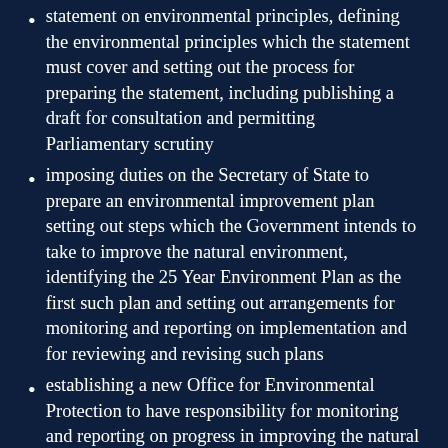statement on environmental principles, defining the environmental principles which the statement must cover and setting out the process for preparing the statement, including publishing a draft for consultation and permitting Parliamentary scrutiny
imposing duties on the Secretary of State to prepare an environmental improvement plan setting out steps which the Government intends to take to improve the natural environment, identifying the 25 Year Environment Plan as the first such plan and setting out arrangements for monitoring and reporting on implementation and for reviewing and revising such plans
establishing a new Office for Environmental Protection to have responsibility for monitoring and reporting on progress in improving the natural environment in accordance with the current environmental improvement plan and on the implementation of environmental law, advising on changes to environmental law and enforcing compliance with environmental law by public bodies with the power to